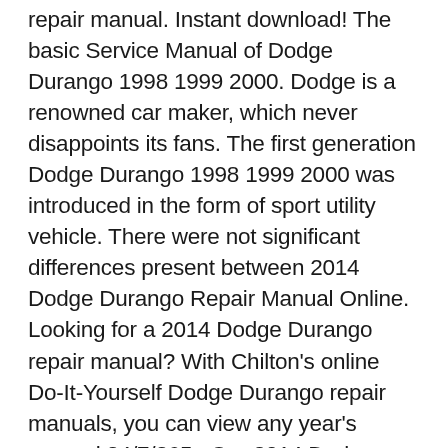repair manual. Instant download! The basic Service Manual of Dodge Durango 1998 1999 2000. Dodge is a renowned car maker, which never disappoints its fans. The first generation Dodge Durango 1998 1999 2000 was introduced in the form of sport utility vehicle. There were not significant differences present between 2014 Dodge Durango Repair Manual Online. Looking for a 2014 Dodge Durango repair manual? With Chilton's online Do-It-Yourself Dodge Durango repair manuals, you can view any year's manual 24/7/365.. Our 2014 Dodge Durango repair manuals include all the information you need to repair or service your 2014 Durango, including diagnostic trouble codes, descriptions, probable causes, step-by-